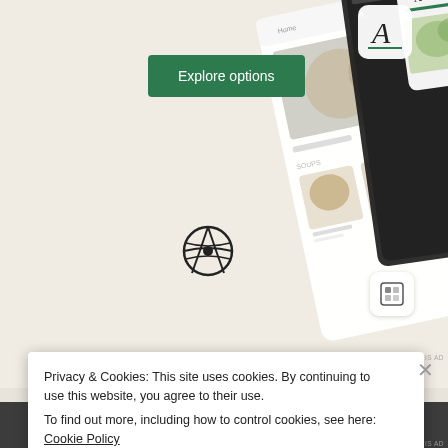[Figure (screenshot): Advertisement banner with 'Explore options' button on beige background, WordPress logo, app icon, and food app UI screenshots showing restaurant menu items]
Explore options
REPORT THIS AD
Hours & Info
T W Th
Privacy & Cookies: This site uses cookies. By continuing to use this website, you agree to their use.
To find out more, including how to control cookies, see here: Cookie Policy
Close and accept
REPORT THIS AD